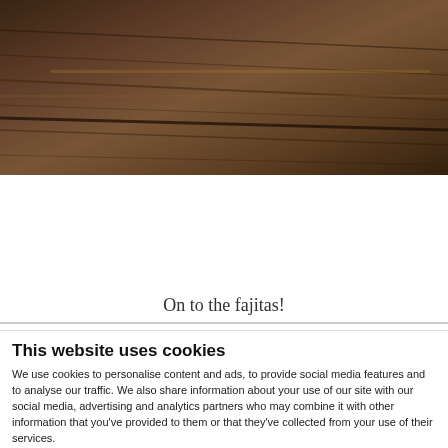[Figure (photo): Close-up photo of dark brown wooden planks or boards with visible grain and texture]
On to the fajitas!
This website uses cookies
We use cookies to personalise content and ads, to provide social media features and to analyse our traffic. We also share information about your use of our site with our social media, advertising and analytics partners who may combine it with other information that you've provided to them or that they've collected from your use of their services.
Allow all cookies
Allow selection
Use necessary cookies only
Necessary  Preferences  Statistics  Marketing  Show details